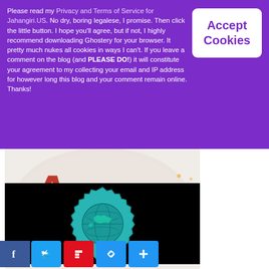Please read my Privacy and Terms of Service for Jahangiri.US. No dry, boring legalese, I promise. Then click the little button. I hope you'll agree, but if not, I highly recommend downloading Ghostery for your browser. It pretty much nukes all cookies in ways I can't. If you leave a comment on the blog (and PLEASE DO!) it will constitute your agreement to my collecting your email and IP address for however long this blog and your comment remain online. Thanks!
[Figure (screenshot): Accept Cookies button, white rounded rectangle with purple text]
[Figure (logo): A2Z Blogging From A to Z April Challenge logo, a-to-zchallenge.com, colorful letters on circular watercolor splash background]
[Figure (illustration): Teal circular badge with globe/world map icon on black background]
[Figure (screenshot): Social sharing bar with Facebook, Twitter, Flipboard, link, and more buttons]